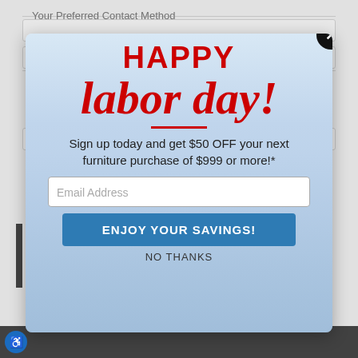Your Preferred Contact Method
[Figure (screenshot): Happy Labor Day promotional popup modal with city skyline background, offering $50 OFF furniture purchase of $999 or more when signing up with email address. Contains email input field, 'ENJOY YOUR SAVINGS!' button, and 'NO THANKS' link.]
HAPPY labor day!
Sign up today and get $50 OFF your next furniture purchase of $999 or more!*
Email Address
ENJOY YOUR SAVINGS!
NO THANKS